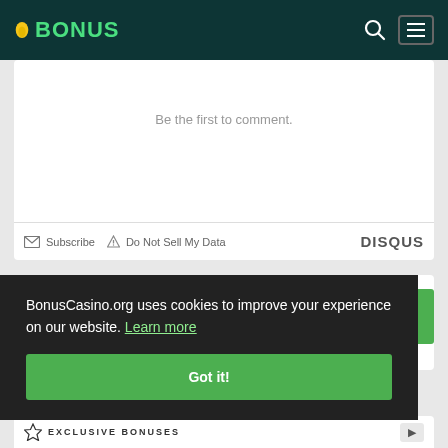BONUS
Be the first to comment.
Subscribe  Do Not Sell My Data  DISQUS
FREE NEWSLETTER
BonusCasino.org uses cookies to improve your experience on our website. Learn more
Got it!
EXCLUSIVE BONUSES